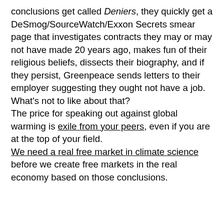conclusions get called Deniers, they quickly get a DeSmog/SourceWatch/Exxon Secrets smear page that investigates contracts they may or may not have made 20 years ago, makes fun of their religious beliefs, dissects their biography, and if they persist, Greenpeace sends letters to their employer suggesting they ought not have a job. What's not to like about that? The price for speaking out against global warming is exile from your peers, even if you are at the top of your field. We need a real free market in climate science before we create free markets in the real economy based on those conclusions.